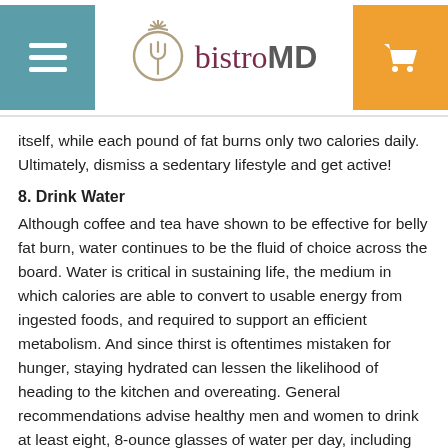bistroMD
itself, while each pound of fat burns only two calories daily. Ultimately, dismiss a sedentary lifestyle and get active!
8. Drink Water
Although coffee and tea have shown to be effective for belly fat burn, water continues to be the fluid of choice across the board. Water is critical in sustaining life, the medium in which calories are able to convert to usable energy from ingested foods, and required to support an efficient metabolism. And since thirst is oftentimes mistaken for hunger, staying hydrated can lessen the likelihood of heading to the kitchen and overeating. General recommendations advise healthy men and women to drink at least eight, 8-ounce glasses of water per day, including